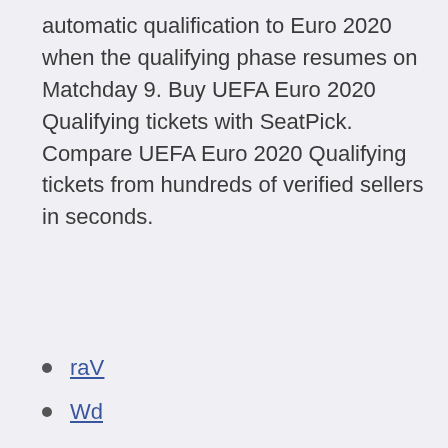automatic qualification to Euro 2020 when the qualifying phase resumes on Matchday 9. Buy UEFA Euro 2020 Qualifying tickets with SeatPick. Compare UEFA Euro 2020 Qualifying tickets from hundreds of verified sellers in seconds.
raV
Wd